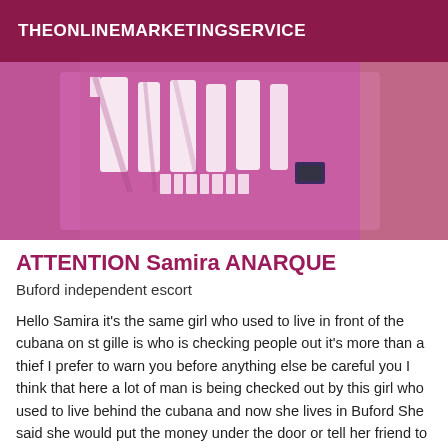THEONLINEMARKETINGSERVICE
[Figure (photo): Close-up photo of a pink/magenta hoodie sweatshirt with white lettering, partially visible text on the garment.]
ATTENTION Samira ANARQUE
Buford independent escort
Hello Samira it's the same girl who used to live in front of the cubana on st gille is who is checking people out it's more than a thief I prefer to warn you before anything else be careful you I think that here a lot of man is being checked out by this girl who used to live behind the cubana and now she lives in Buford She said she would put the money under the door or tell her friend to come and scare her. Attention to you Mister it is very smart